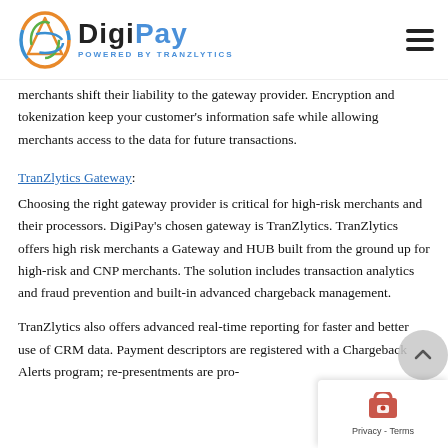DigiPay Powered by TranZlytics
merchants shift their liability to the gateway provider. Encryption and tokenization keep your customer's information safe while allowing merchants access to the data for future transactions.
TranZlytics Gateway:
Choosing the right gateway provider is critical for high-risk merchants and their processors. DigiPay's chosen gateway is TranZlytics. TranZlytics offers high risk merchants a Gateway and HUB built from the ground up for high-risk and CNP merchants. The solution includes transaction analytics and fraud prevention and built-in advanced chargeback management.
TranZlytics also offers advanced real-time reporting for fas... and better use of CRM data. Payment descriptors are regis... with a Chargeback Alerts program; re-presentments are pro...